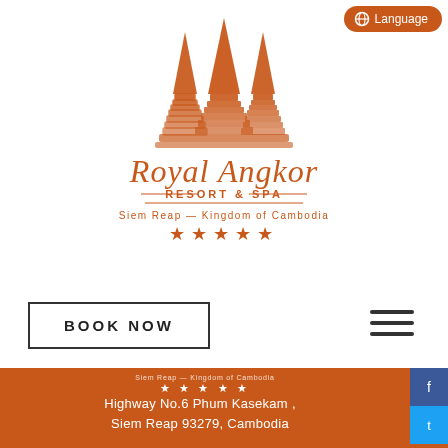[Figure (logo): Royal Angkor Resort & Spa logo with temple spires graphic, cursive text 'Royal Angkor', 'RESORT & SPA', 'Siem Reap — Kingdom of Cambodia', and five stars]
Language
BOOK NOW
[Figure (logo): Small repeated Royal Angkor logo (Siem Reap — Kingdom of Cambodia, five stars) in orange footer]
Highway No.6 Phum Kasekam , Siem Reap 93279, Cambodia
+855-63-767-555
+855-63-965-511
+855-97-265-5555
reservation@royalangkorresort.com
REVIEW ON US
Watch Our Video